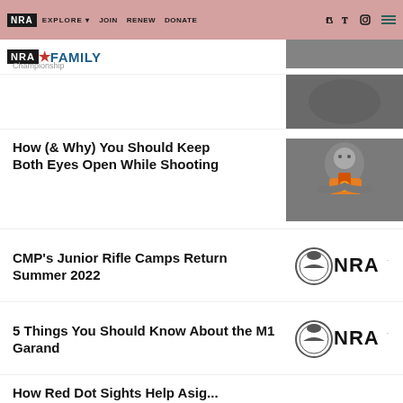NRA EXPLORE | JOIN | RENEW | DONATE | NRA FAMILY
Championship
How (& Why) You Should Keep Both Eyes Open While Shooting
[Figure (photo): Person pointing an orange pistol directly at the camera]
CMP's Junior Rifle Camps Return Summer 2022
[Figure (logo): NRA logo with eagle seal]
5 Things You Should Know About the M1 Garand
[Figure (logo): NRA logo with eagle seal]
How Red Dot Sights Help Asig...